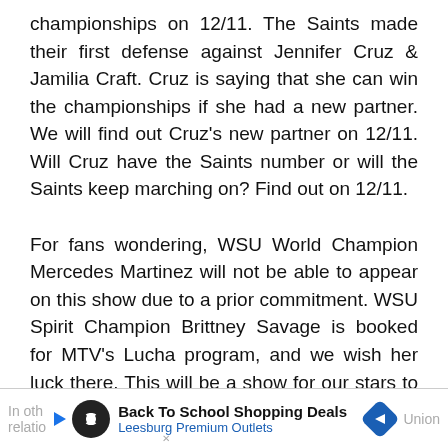championships on 12/11. The Saints made their first defense against Jennifer Cruz & Jamilia Craft. Cruz is saying that she can win the championships if she had a new partner. We will find out Cruz's new partner on 12/11. Will Cruz have the Saints number or will the Saints keep marching on? Find out on 12/11.
For fans wondering, WSU World Champion Mercedes Martinez will not be able to appear on this show due to a prior commitment. WSU Spirit Champion Brittney Savage is booked for MTV's Lucha program, and we wish her luck there. This will be a show for our stars to get into title contention and for new talent to make their mark. We are looking forward to these exciting matches and hope you can join us.
[Figure (other): Advertisement banner: Back To School Shopping Deals at Leesburg Premium Outlets with play button icon, infinity logo circle, and blue diamond navigation arrow]